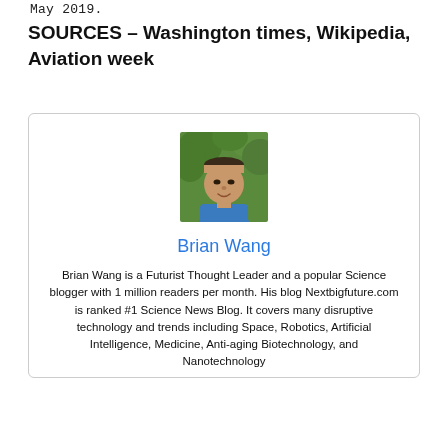May 2019.
SOURCES – Washington times, Wikipedia, Aviation week
[Figure (photo): Portrait photo of Brian Wang, a man in a blue shirt outdoors with green foliage in the background]
Brian Wang
Brian Wang is a Futurist Thought Leader and a popular Science blogger with 1 million readers per month. His blog Nextbigfuture.com is ranked #1 Science News Blog. It covers many disruptive technology and trends including Space, Robotics, Artificial Intelligence, Medicine, Anti-aging Biotechnology, and Nanotechnology